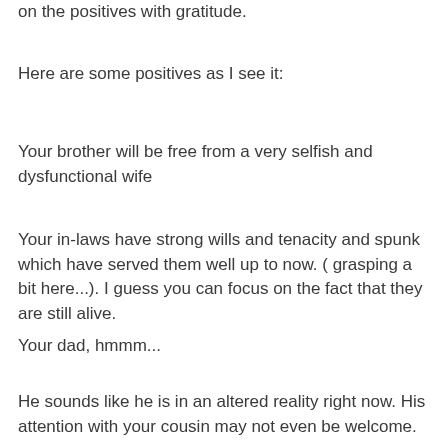on the positives with gratitude.
Here are some positives as I see it:
Your brother will be free from a very selfish and dysfunctional wife
Your in-laws have strong wills and tenacity and spunk which have served them well up to now. ( grasping a bit here...). I guess you can focus on the fact that they are still alive.
Your dad, hmmm...
He sounds like he is in an altered reality right now. His attention with your cousin may not even be welcome.